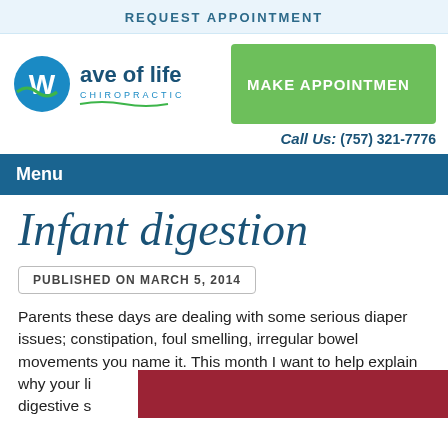REQUEST APPOINTMENT
[Figure (logo): Wave of Life Chiropractic logo with blue wave and 'W' emblem]
MAKE APPOINTMENT
Call Us: (757) 321-7776
Menu
Infant digestion
PUBLISHED ON MARCH 5, 2014
Parents these days are dealing with some serious diaper issues; constipation, foul smelling, irregular bowel movements you name it. This month I want to help explain why your li[...] r digestive s[...]